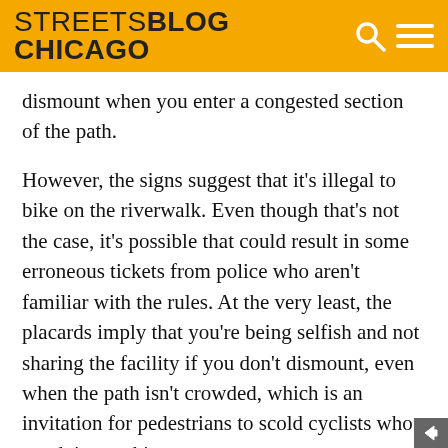STREETSBLOG CHICAGO
dismount when you enter a congested section of the path.
However, the signs suggest that it's illegal to bike on the riverwalk. Even though that's not the case, it's possible that could result in some erroneous tickets from police who aren't familiar with the rules. At the very least, the placards imply that you're being selfish and not sharing the facility if you don't dismount, even when the path isn't crowded, which is an invitation for pedestrians to scold cyclists who are doing nothing wrong.
Moreover, the signs are hypocritical because when Chicago pitched the riverwalk project to the federal government to get a grant for $99 milli...